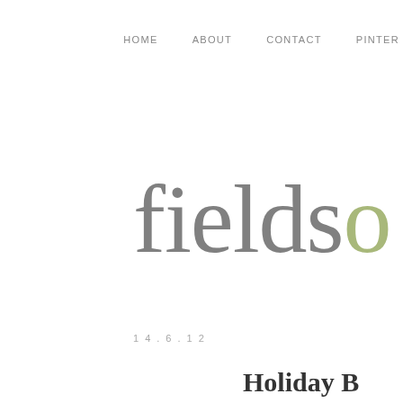HOME    ABOUT    CONTACT    PINTER
fieldso
14.6.12
Holiday B